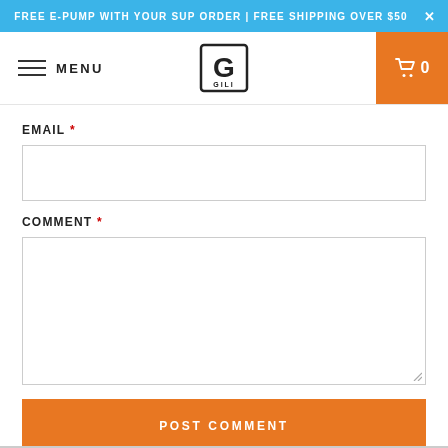FREE E-PUMP WITH YOUR SUP ORDER | FREE SHIPPING OVER $50
[Figure (screenshot): Navigation bar with hamburger menu icon, MENU text, GILI brand logo in center, and orange shopping cart button with 0 count]
EMAIL *
COMMENT *
POST COMMENT